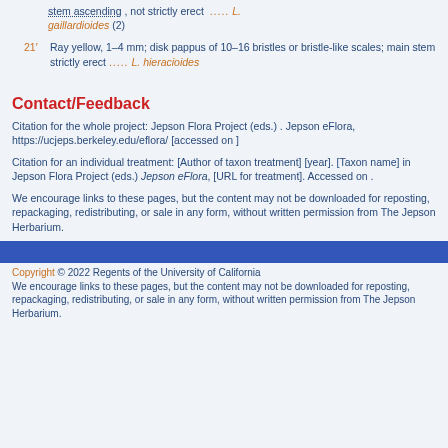stem ascending , not strictly erect ..... L. gaillardioides (2)
21' Ray yellow, 1–4 mm; disk pappus of 10–16 bristles or bristle-like scales; main stem strictly erect ..... L. hieracioides
Contact/Feedback
Citation for the whole project: Jepson Flora Project (eds.) . Jepson eFlora, https://ucjeps.berkeley.edu/eflora/ [accessed on ]
Citation for an individual treatment: [Author of taxon treatment] [year]. [Taxon name] in Jepson Flora Project (eds.) Jepson eFlora, [URL for treatment]. Accessed on .
We encourage links to these pages, but the content may not be downloaded for reposting, repackaging, redistributing, or sale in any form, without written permission from The Jepson Herbarium.
Copyright © 2022 Regents of the University of California We encourage links to these pages, but the content may not be downloaded for reposting, repackaging, redistributing, or sale in any form, without written permission from The Jepson Herbarium.